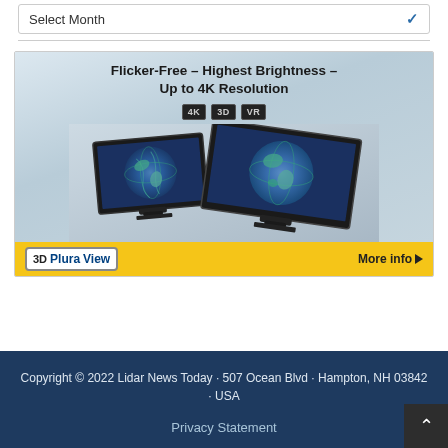[Figure (screenshot): Select Month dropdown widget with blue chevron]
[Figure (illustration): 3D PluraView monitor advertisement showing two 3D monitors with globe imagery, badges for 4K, 3D, VR, headline 'Flicker-Free – Highest Brightness – Up to 4K Resolution', and yellow bottom bar with '3D PluraView' logo and 'More info' arrow button]
Copyright © 2022 Lidar News Today · 507 Ocean Blvd · Hampton, NH 03842 · USA
Privacy Statement